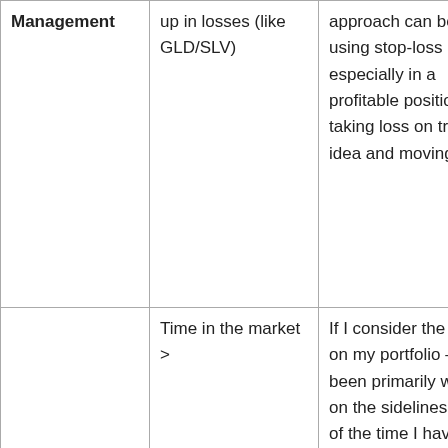| Management | up in losses (like GLD/SLV) | approach can be using stop-loss especially in a profitable position. Not taking loss on trade idea and moving on. |
|  | Time in the market > | If I consider the drags on my portfolio – it has been primarily waiting on the sidelines. Most of the time I have |